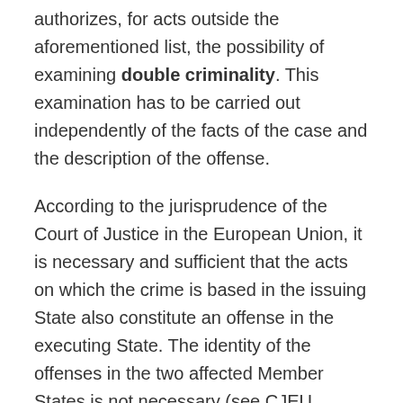authorizes, for acts outside the aforementioned list, the possibility of examining double criminality. This examination has to be carried out independently of the facts of the case and the description of the offense.
According to the jurisprudence of the Court of Justice in the European Union, it is necessary and sufficient that the acts on which the crime is based in the issuing State also constitute an offense in the executing State. The identity of the offenses in the two affected Member States is not necessary (see CJEU, judgment of 11.1.2017 (case C-289/15) (Grundza case), § 34). Therefore, it is not necessary to establish an exact correspondence between the